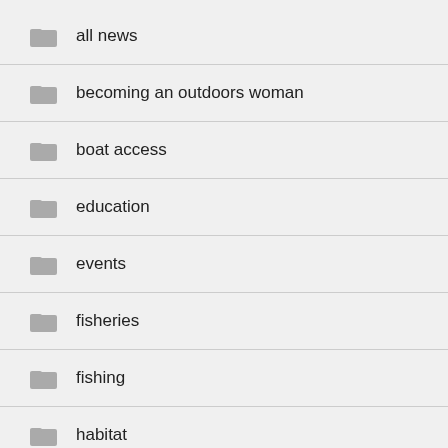all news
becoming an outdoors woman
boat access
education
events
fisheries
fishing
habitat
hunting
jobs